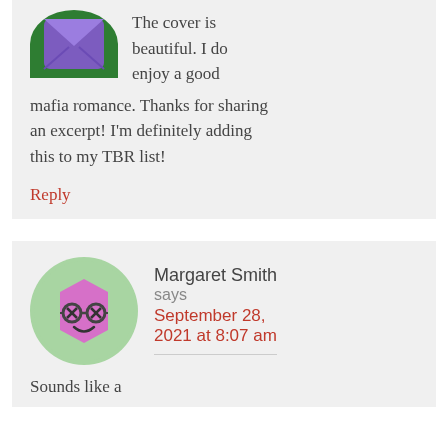The cover is beautiful. I do enjoy a good mafia romance. Thanks for sharing an excerpt! I'm definitely adding this to my TBR list!
Reply
Margaret Smith says September 28, 2021 at 8:07 am
Sounds like a